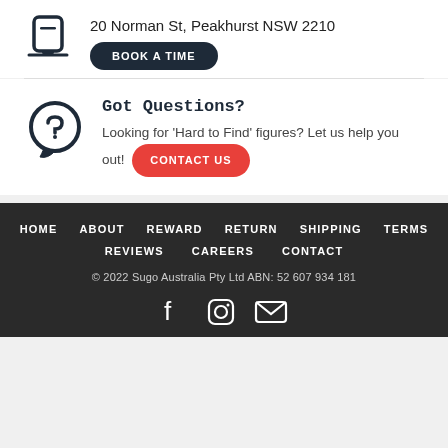[Figure (illustration): Location/desk icon in dark navy color]
20 Norman St, Peakhurst NSW 2210
BOOK A TIME
[Figure (illustration): WhatsApp logo icon in dark navy color]
Got Questions?
Looking for 'Hard to Find' figures? Let us help you out! CONTACT US
HOME   ABOUT   REWARD   RETURN   SHIPPING   TERMS   REVIEWS   CAREERS   CONTACT
© 2022 Sugo Australia Pty Ltd ABN: 52 607 934 181